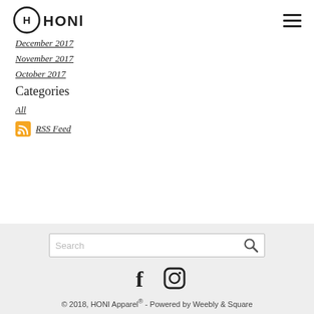OHONI
December 2017
November 2017
October 2017
Categories
All
RSS Feed
© 2018, HONI Apparel® - Powered by Weebly & Square